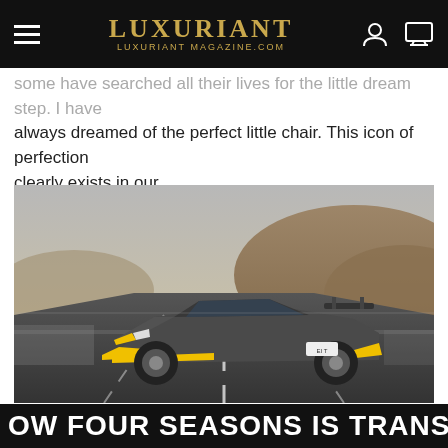LUXURIANT — LUXURIANT MAGAZINE.COM
some have searched all their lives for the little dream step. I have always dreamed of the perfect little chair. This icon of perfection clearly exists in our…
[Figure (photo): A grey and yellow Lamborghini Huracán supercar driving on a road with dry hilly terrain in the background.]
LUXURY & LIFESTYLE NEWS
CARS, STARS AND ART IN THE SCOTTISH
OW FOUR SEASONS IS TRANSFO